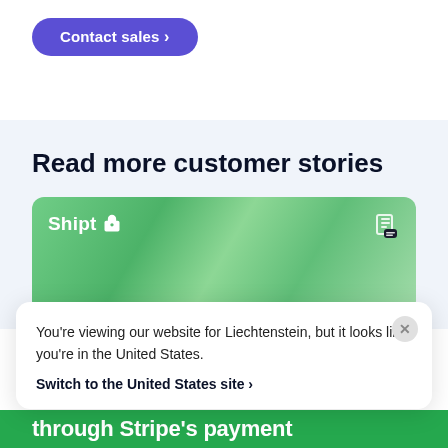[Figure (screenshot): A purple rounded pill-shaped 'Contact sales >' button on a white background]
Read more customer stories
[Figure (screenshot): Shipt customer story card with green-tinted background photo of a person in a grocery store, showing the Shipt logo and a document icon]
You're viewing our website for Liechtenstein, but it looks like you're in the United States.
Switch to the United States site ›
through Stripe's payment